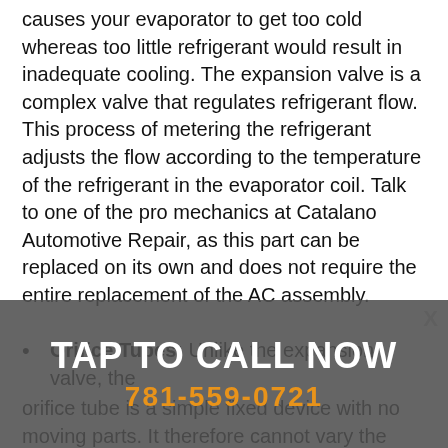causes your evaporator to get too cold whereas too little refrigerant would result in inadequate cooling. The expansion valve is a complex valve that regulates refrigerant flow. This process of metering the refrigerant adjusts the flow according to the temperature of the refrigerant in the evaporator coil. Talk to one of the pro mechanics at Catalano Automotive Repair, as this part can be replaced on its own and does not require the entire replacement of the AC assembly.
Orifice Tubes: Unlike the expansion valve, the orifice tube is a simple fixed device with no moving parts. It therefore cannot vary the flow of refrigerant into the evaporator, but rather causes a permanent restriction in the system. However, like the expansion valve the orifice tube regulates refrigerant flow through the system and filters
TAP TO CALL NOW
781-559-0721